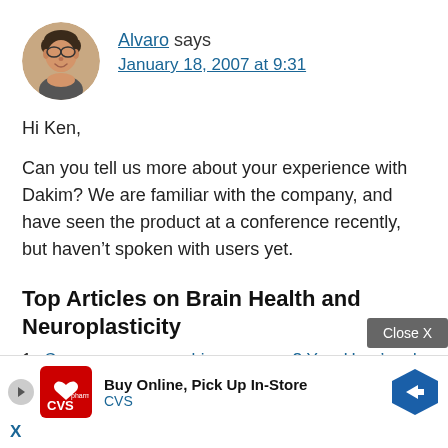[Figure (photo): Circular avatar photo of Alvaro, a man with glasses smiling]
Alvaro says
January 18, 2007 at 9:31
Hi Ken,
Can you tell us more about your experience with Dakim? We are familiar with the company, and have seen the product at a conference recently, but haven’t spoken with users yet.
Top Articles on Brain Health and Neuroplasticity
Can you grow your hippocampus? Yes. Here’s and wh…
Ho…
[Figure (other): Advertisement overlay: CVS Pharmacy - Buy Online, Pick Up In-Store with close button]